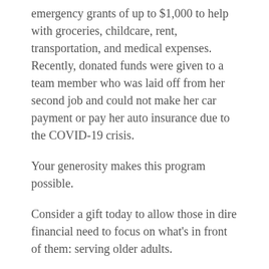emergency grants of up to $1,000 to help with groceries, childcare, rent, transportation, and medical expenses. Recently, donated funds were given to a team member who was laid off from her second job and could not make her car payment or pay her auto insurance due to the COVID-19 crisis.
Your generosity makes this program possible.
Consider a gift today to allow those in dire financial need to focus on what's in front of them: serving older adults.
DONATE NOW